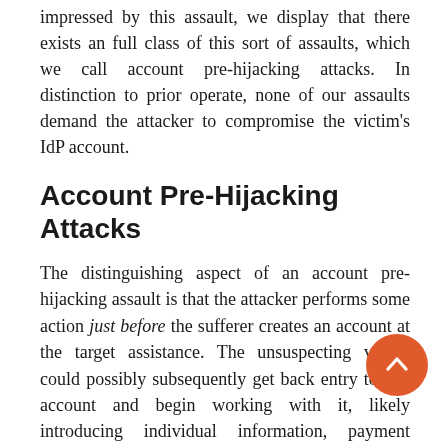impressed by this assault, we display that there exists an full class of this sort of assaults, which we call account pre-hijacking attacks. In distinction to prior operate, none of our assaults demand the attacker to compromise the victim's IdP account.
Account Pre-Hijacking Attacks
The distinguishing aspect of an account pre-hijacking assault is that the attacker performs some action just before the sufferer creates an account at the target assistance. The unsuspecting victim could possibly subsequently get back entry to this account and begin working with it, likely introducing individual information, payment details, or any other sort of personal information and facts. Right after some time, the attacker completes the attack by attaining access to the victim's account – effectively obtaining the very same aim as an account hijacking assault.
In the study paper, we explain 5 styles of pre-hijacking assaults...